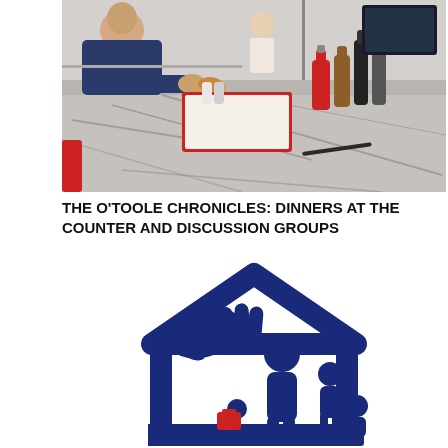[Figure (photo): A person sitting at a diner counter eating food, with condiments and menus along the counter. The counter has a grey/white marble pattern surface. Various bottles, menus, and diner items visible in the background.]
THE O'TOOLE CHRONICLES: DINNERS AT THE COUNTER AND DISCUSSION GROUPS
[Figure (logo): A dark navy blue illustration/logo showing a stylized house outline with a hand reaching out, a person figure, and a small child figure. The logo appears to be for a family or community organization. A small red element is visible near the center-bottom.]